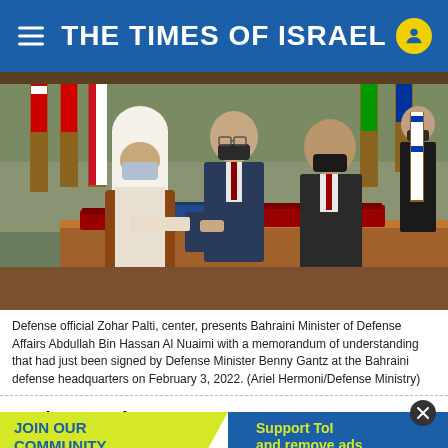THE TIMES OF ISRAEL
[Figure (photo): Defense official Zohar Palti, center, presents Bahraini Minister of Defense Affairs Abdullah Bin Hassan Al Nuaimi with a memorandum of understanding signed by Defense Minister Benny Gantz at the Bahraini defense headquarters on February 3, 2022. Officials are seated at a wooden table with red folders, wearing masks. Bahraini and other flags are visible in the background.]
Defense official Zohar Palti, center, presents Bahraini Minister of Defense Affairs Abdullah Bin Hassan Al Nuaimi with a memorandum of understanding that had just been signed by Defense Minister Benny Gantz at the Bahraini defense headquarters on February 3, 2022. (Ariel Hermoni/Defense Ministry)
At the … curity dimen…